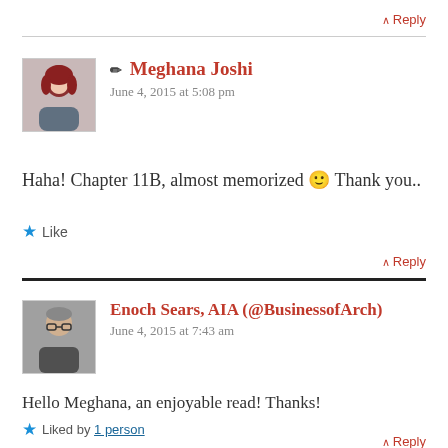↑ Reply
✏ Meghana Joshi
June 4, 2015 at 5:08 pm
Haha! Chapter 11B, almost memorized 🙂 Thank you..
★ Like
↑ Reply
Enoch Sears, AIA (@BusinessofArch)
June 4, 2015 at 7:43 am
Hello Meghana, an enjoyable read! Thanks!
★ Liked by 1 person
↑ Reply